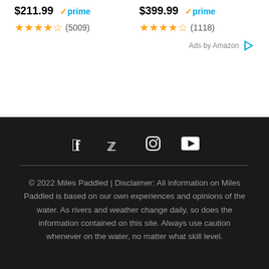$211.99 ✓prime ★★★★☆ (5009)
$399.99 ✓prime ★★★★☆ (1118)
Ads by Amazon ▷
[Figure (infographic): Social media icons: Facebook, Twitter, Instagram, YouTube]
© 2022 Miles Paddled | Disclaimer: All information on Miles Paddled is based on our own experiences and opinions of the water. As rivers and weather change daily, so does the information contained on this site. Always use caution whenever on the water, no matter what skill level.